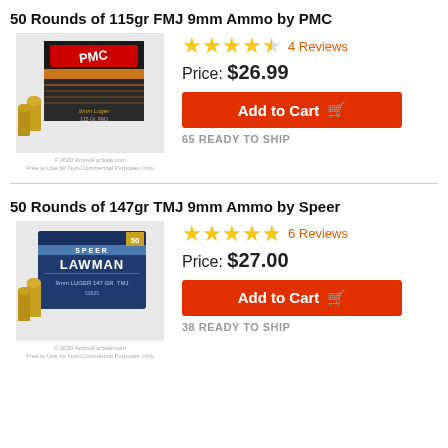50 Rounds of 115gr FMJ 9mm Ammo by PMC
[Figure (photo): PMC Bronze 9mm Luger 115gr FMJ ammunition box with brass bullets]
4 Reviews
Price: $26.99
Add to Cart
65 READY TO SHIP
50 Rounds of 147gr TMJ 9mm Ammo by Speer
[Figure (photo): Speer Lawman 9mm Luger 147gr TMJ ammunition box with brass bullets]
6 Reviews
Price: $27.00
Add to Cart
38 READY TO SHIP